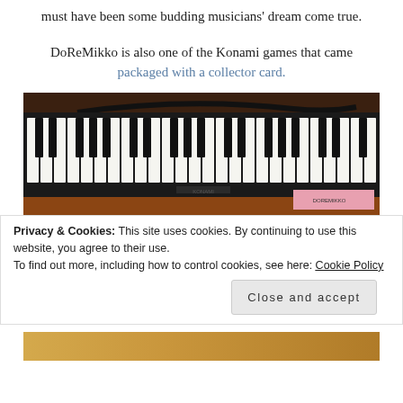must have been some budding musicians' dream come true.
DoReMikko is also one of the Konami games that came packaged with a collector card.
[Figure (photo): Photograph of a Konami keyboard/melodica instrument with black and white piano keys on a wooden surface, with a cable visible at the top.]
Privacy & Cookies: This site uses cookies. By continuing to use this website, you agree to their use.
To find out more, including how to control cookies, see here: Cookie Policy
Close and accept
[Figure (photo): Partial view of another instrument or object at the bottom of the page.]